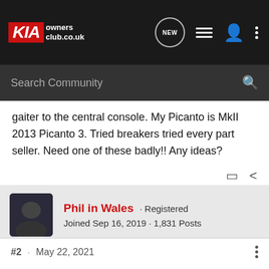KIA owners club.co.uk
gaiter to the central console. My Picanto is MkII 2013 Picanto 3. Tried breakers tried every part seller. Need one of these badly!! Any ideas?
Phil in Wales · Registered
Joined Sep 16, 2019 · 1,831 Posts
#2 · May 22, 2021
Did you put a nation wide search on places like parts gateway..or breaker link.com..